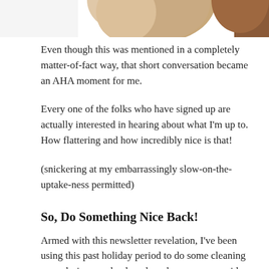[Figure (photo): Top portion of a photo showing two people, cropped at the top of the page — partial view of arms/shoulders and hair]
Even though this was mentioned in a completely matter-of-fact way, that short conversation became an AHA moment for me.
Every one of the folks who have signed up are actually interested in hearing about what I'm up to. How flattering and how incredibly nice is that!
(snickering at my embarrassingly slow-on-the-uptake-ness permitted)
So, Do Something Nice Back!
Armed with this newsletter revelation, I've been using this past holiday period to do some cleaning up, a design overhaul, and work on some new ideas that I am a little excited about